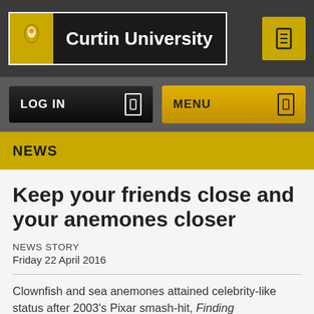Curtin University
NEWS
Keep your friends close and your anemones closer
NEWS STORY
Friday 22 April 2016
Clownfish and sea anemones attained celebrity-like status after 2003's Pixar smash-hit, Finding